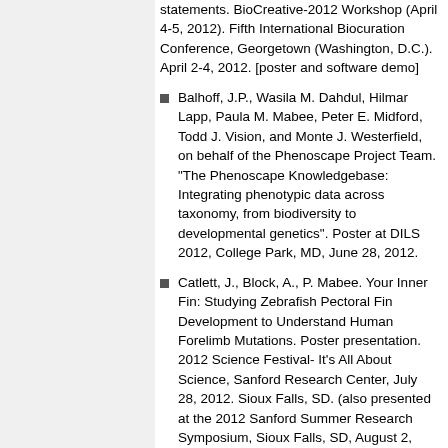statements. BioCreative-2012 Workshop (April 4-5, 2012). Fifth International Biocuration Conference, Georgetown (Washington, D.C.). April 2-4, 2012. [poster and software demo]
Balhoff, J.P., Wasila M. Dahdul, Hilmar Lapp, Paula M. Mabee, Peter E. Midford, Todd J. Vision, and Monte J. Westerfield, on behalf of the Phenoscape Project Team. "The Phenoscape Knowledgebase: Integrating phenotypic data across taxonomy, from biodiversity to developmental genetics". Poster at DILS 2012, College Park, MD, June 28, 2012.
Catlett, J., Block, A., P. Mabee. Your Inner Fin: Studying Zebrafish Pectoral Fin Development to Understand Human Forelimb Mutations. Poster presentation. 2012 Science Festival- It's All About Science, Sanford Research Center, July 28, 2012. Sioux Falls, SD. (also presented at the 2012 Sanford Summer Research Symposium, Sioux Falls, SD, August 2,